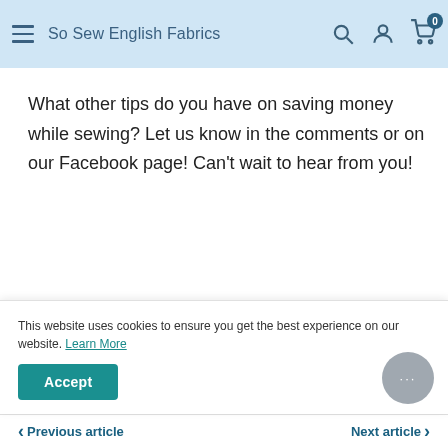So Sew English Fabrics
What other tips do you have on saving money while sewing? Let us know in the comments or on our Facebook page! Can't wait to hear from you!
Tags: Affordable sewing, Bundles, Cropped, French terry, Handmade, Joggers, S... m...
Share
This website uses cookies to ensure you get the best experience on our website. Learn More
Previous article   Next article